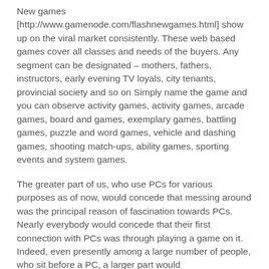New games [http://www.gamenode.com/flashnewgames.html] show up on the viral market consistently. These web based games cover all classes and needs of the buyers. Any segment can be designated – mothers, fathers, instructors, early evening TV loyals, city tenants, provincial society and so on Simply name the game and you can observe activity games, activity games, arcade games, board and games, exemplary games, battling games, puzzle and word games, vehicle and dashing games, shooting match-ups, ability games, sporting events and system games.
The greater part of us, who use PCs for various purposes as of now, would concede that messing around was the principal reason of fascination towards PCs. Nearly everybody would concede that their first connection with PCs was through playing a game on it. Indeed, even presently among a large number of people, who sit before a PC, a larger part would